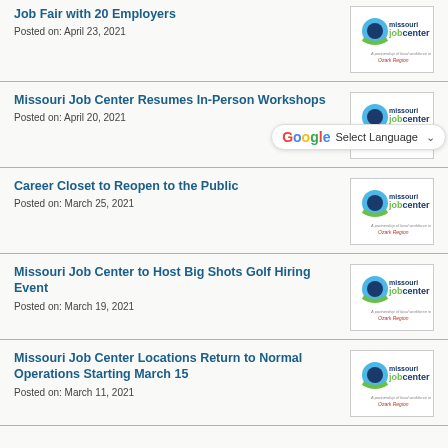Job Fair with 20 Employers
Posted on: April 23, 2021
[Figure (logo): Missouri Job Center Ozark Region logo]
Missouri Job Center Resumes In-Person Workshops
Posted on: April 20, 2021
[Figure (logo): Missouri Job Center logo]
Career Closet to Reopen to the Public
Posted on: March 25, 2021
[Figure (logo): Missouri Job Center Ozark Region logo]
Missouri Job Center to Host Big Shots Golf Hiring Event
Posted on: March 19, 2021
[Figure (logo): Missouri Job Center Ozark Region logo]
Missouri Job Center Locations Return to Normal Operations Starting March 15
Posted on: March 11, 2021
[Figure (logo): Missouri Job Center Ozark Region logo]